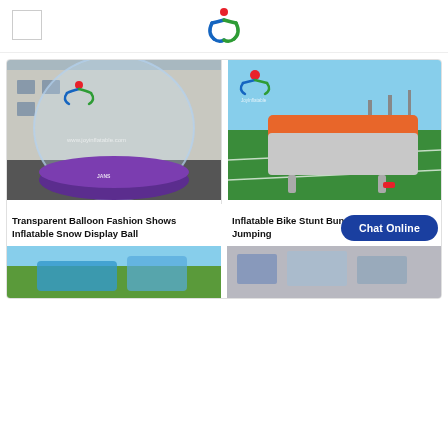JoyInflatable logo header
[Figure (photo): Transparent inflatable bubble ball / snow globe with purple base pool on concrete ground, JoyInflatable logo watermark]
Transparent Balloon Fashion Shows Inflatable Snow Display Ball
[Figure (photo): Inflatable bike stunt bungee air bag on green football/soccer field, gray and orange top, JoyInflatable logo]
Inflatable Bike Stunt Bungee Air Bag For Jumping
[Figure (photo): Partial view of another inflatable product, green trees visible]
[Figure (photo): Partial view of another inflatable product indoors]